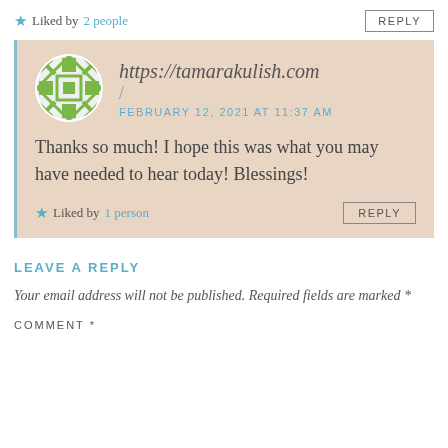★ Liked by 2 people
REPLY
https://tamarakulish.com / FEBRUARY 12, 2021 AT 11:37 AM
Thanks so much! I hope this was what you may have needed to hear today! Blessings!
★ Liked by 1 person
REPLY
LEAVE A REPLY
Your email address will not be published. Required fields are marked *
COMMENT *